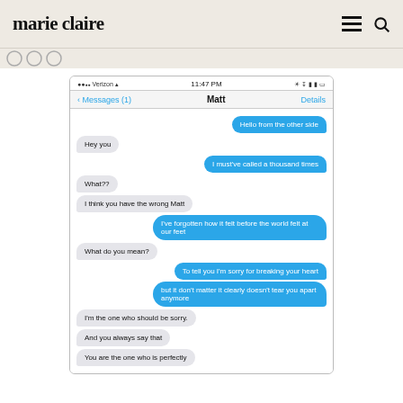marie claire
[Figure (screenshot): iPhone text message conversation screenshot showing a chat with 'Matt'. Sent messages (blue bubbles): 'Hello from the other side', 'I must've called a thousand times', 'I've forgotten how it felt before the world felt at our feet', 'To tell you I'm sorry for breaking your heart', 'but it don't matter it clearly doesn't tear you apart anymore'. Received messages (grey bubbles): 'Hey you', 'What??', 'I think you have the wrong Matt', 'What do you mean?', 'I'm the one who should be sorry.', 'And you always say that', 'You are the one who is perfectly'. Status bar shows Verizon, 11:47 PM.]